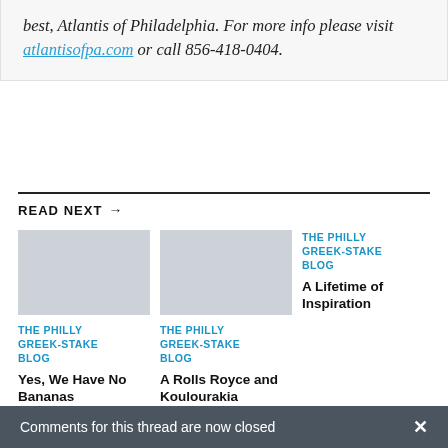best, Atlantis of Philadelphia. For more info please visit atlantisofpa.com or call 856-418-0404.
READ NEXT →
[Figure (photo): Placeholder image (light gray rectangle) for article 1]
THE PHILLY GREEK-STAKE BLOG
Yes, We Have No Bananas
[Figure (photo): Placeholder image (light gray rectangle) for article 2]
THE PHILLY GREEK-STAKE BLOG
A Rolls Royce and Koulourakia
THE PHILLY GREEK-STAKE BLOG
A Lifetime of Inspiration
Comments for this thread are now closed